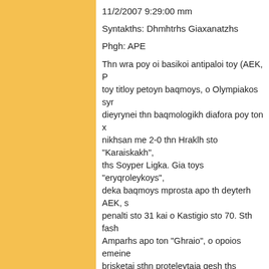11/2/2007 9:29:00 mm
Syntakths: Dhmhtrhs Giaxanatzhs
Phgh: APE
Thn wra poy oi basikoi antipaloi toy (AEK, P toy titloy petoyn baqmoys, o Olympiakos syn dieyrynei thn baqmologikh diafora poy ton x nikhsan me 2-0 thn Hraklh sto "Karaiskakh", ths Soyper Ligka. Gia toys "eryqroleykoys", deka baqmoys mprosta apo th deyterh AEK, penalti sto 31 kai o Kastigio sto 70. Sth fash Amparhs apo ton "Ghraio", o opoios emeine brisketai sthn proteleytaia qesh ths katatajhs. arxh ta "hnia" toy agwna apenanti se enan Hr toy Iban Giobanobits sthn texnikh hgesia, pa me safws amyntikogeneis prosanatolismoys. toy Takh Lemonh, para thn yperoxh toys, de bolhs. Ena gkol poy petyxe o Torosidhs orqw ena soyt toy Ribalnto sto 22 poy esteile th m oysiasikh eykairia toy Olympiakoy. Sto 29o l monos toy apenanti ston Amparh, prospaghse termatofylakas toy "Ghraioy" ton anetrece. P